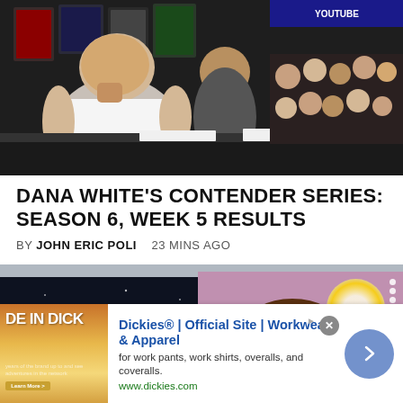[Figure (photo): Dana White sitting at a table with other people, audience visible in background, appears to be a Contender Series event]
DANA WHITE'S CONTENDER SERIES: SEASON 6, WEEK 5 RESULTS
BY JOHN ERIC POLI   23 MINS AGO
[Figure (screenshot): Dark background with 'BARE KNUCKLE NEWS' badge in blue]
[Figure (screenshot): Video overlay showing a man with headphones smiling, with glow orb effect and caption 'Brandon Lewis talks upcomin...']
Brandon Lewis talks upcomin...
[Figure (photo): Dickies advertisement showing branded apparel image with text overlay 'DE IN DICKI']
Dickies® | Official Site | Workwear & Apparel
for work pants, work shirts, overalls, and coveralls.
www.dickies.com